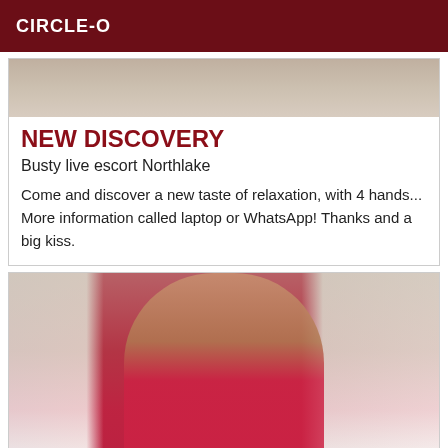CIRCLE-O
[Figure (photo): Top portion of a bedroom photo, showing beige/neutral bedding]
NEW DISCOVERY
Busty live escort Northlake
Come and discover a new taste of relaxation, with 4 hands... More information called laptop or WhatsApp! Thanks and a big kiss.
[Figure (photo): Woman posing on a bed in a bedroom with pink curtains and pink clothing]